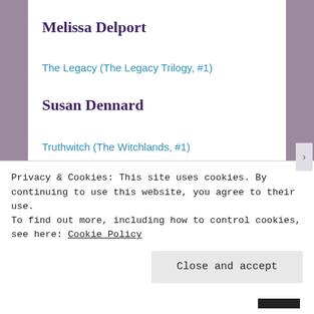Melissa Delport
The Legacy (The Legacy Trilogy, #1)
Susan Dennard
Truthwitch (The Witchlands, #1)
Windwitch (The Witchlands, #2)
Bloodwitch (The Witchlands, #3)
Privacy & Cookies: This site uses cookies. By continuing to use this website, you agree to their use.
To find out more, including how to control cookies, see here: Cookie Policy
Close and accept